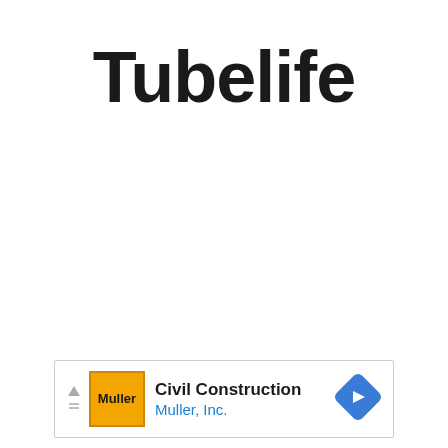Tubelife
[Figure (logo): Advertisement banner for Muller, Inc. Civil Construction with orange Muller logo and blue navigation arrow icon]